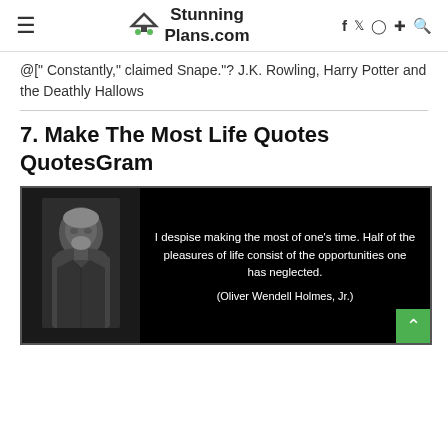StunningPlans.com
@[" Constantly," claimed Snape."? J.K. Rowling, Harry Potter and the Deathly Hallows
7. Make The Most Life Quotes QuotesGram
[Figure (photo): Black background image with a black-and-white portrait of an older gentleman on the left, and a white text quote on the right: 'I despise making the most of one's time. Half of the pleasures of life consist of the opportunities one has neglected. (Oliver Wendell Holmes, Jr.)']